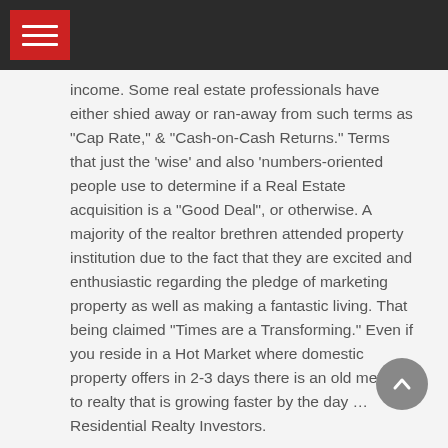[Navigation header bar with hamburger menu]
income. Some real estate professionals have either shied away or ran-away from such terms as “Cap Rate,” & “Cash-on-Cash Returns.” Terms that just the ‘wise’ and also ‘numbers-oriented people use to determine if a Real Estate acquisition is a “Good Deal”, or otherwise. A majority of the realtor brethren attended property institution due to the fact that they are excited and enthusiastic regarding the pledge of marketing property as well as making a fantastic living. That being claimed “Times are a Transforming.” Even if you reside in a Hot Market where domestic property offers in 2-3 days there is an old method to realty that is growing faster by the day … Residential Realty Investors.
This ingenious group of real estate investors is taking real estate and also the real estate financial